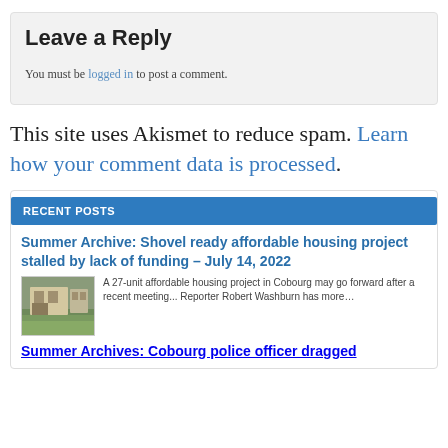Leave a Reply
You must be logged in to post a comment.
This site uses Akismet to reduce spam. Learn how your comment data is processed.
RECENT POSTS
Summer Archive: Shovel ready affordable housing project stalled by lack of funding – July 14, 2022
[Figure (photo): Thumbnail photo of an affordable housing building exterior]
A 27-unit affordable housing project in Cobourg may go forward after a recent meeting... Reporter Robert Washburn has more…
Summer Archives: Cobourg police officer dragged